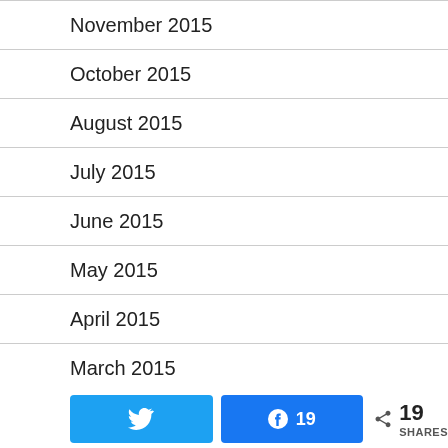November 2015
October 2015
August 2015
July 2015
June 2015
May 2015
April 2015
March 2015
February 2015
January 2015
Twitter share button, Facebook share button with 19 shares, share icon with 19 SHARES